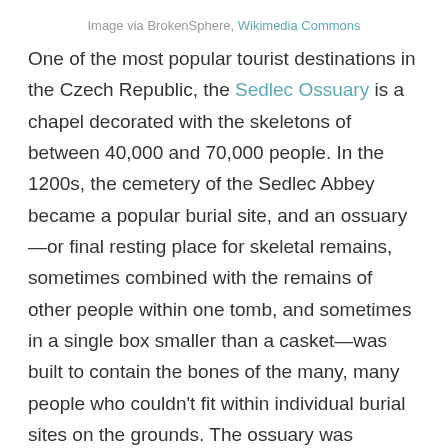Image via BrokenSphere, Wikimedia Commons
One of the most popular tourist destinations in the Czech Republic, the Sedlec Ossuary is a chapel decorated with the skeletons of between 40,000 and 70,000 people. In the 1200s, the cemetery of the Sedlec Abbey became a popular burial site, and an ossuary—or final resting place for skeletal remains, sometimes combined with the remains of other people within one tomb, and sometimes in a single box smaller than a casket—was built to contain the bones of the many, many people who couldn't fit within individual burial sites on the grounds. The ossuary was expanded during the Black Death of the 1300s, and in the late 1800s, the Sedlec Ossuary was renovated and decorated into the ornate chapel you can